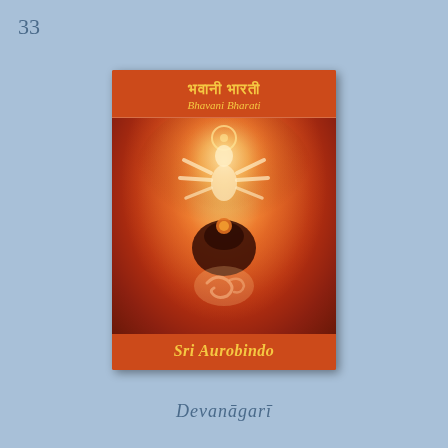33
[Figure (illustration): Book cover of 'Bhavani Bharati' by Sri Aurobindo. Orange/red cover with Devanagari and Roman script title at top in yellow, central artwork showing a luminous multi-armed goddess figure with a dark shadowed form below and an Om symbol, author name Sri Aurobindo at bottom in yellow italic text.]
Devanāgarī